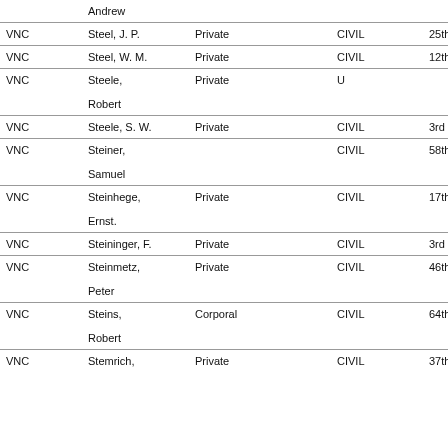|  | Name | Rank |  | Unit | Regiment |
| --- | --- | --- | --- | --- | --- |
|  | Andrew |  |  |  |  |
| VNC | Steel, J. P. | Private |  | CIVIL | 25th |
| VNC | Steel, W. M. | Private |  | CIVIL | 12th |
| VNC | Steele,
Robert | Private |  | U |  |
| VNC | Steele, S. W. | Private |  | CIVIL | 3rd |
| VNC | Steiner,
Samuel |  |  | CIVIL | 58th |
| VNC | Steinhege,
Ernst. | Private |  | CIVIL | 17th |
| VNC | Steininger, F. | Private |  | CIVIL | 3rd |
| VNC | Steinmetz,
Peter | Private |  | CIVIL | 46th |
| VNC | Steins,
Robert | Corporal |  | CIVIL | 64th |
| VNC | Stemrich, | Private |  | CIVIL | 37th |